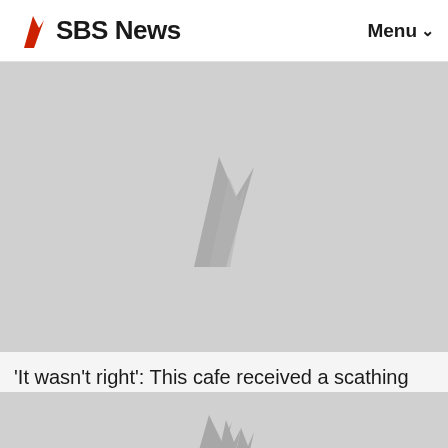SBS News | Menu
[Figure (photo): SBS News image placeholder with watermark logo, light grey background]
'It wasn't right': This cafe received a scathing review over a barista's disability. Here's what happened next
AUSTRALIA
[Figure (photo): SBS News second image placeholder with watermark logo, light grey background]